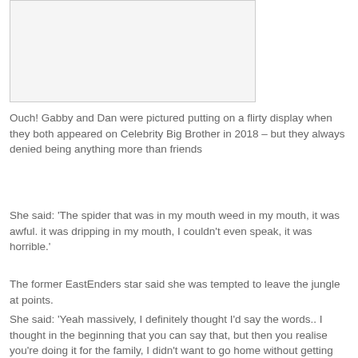[Figure (photo): Blank/white image placeholder area]
Ouch! Gabby and Dan were pictured putting on a flirty display when they both appeared on Celebrity Big Brother in 2018 – but they always denied being anything more than friends
She said: 'The spider that was in my mouth weed in my mouth, it was awful. it was dripping in my mouth, I couldn't even speak, it was horrible.'
The former EastEnders star said she was tempted to leave the jungle at points.
She said: 'Yeah massively, I definitely thought I'd say the words.. I thought in the beginning that you can say that, but then you realise you're doing it for the family, I didn't want to go home without getting any stars.'